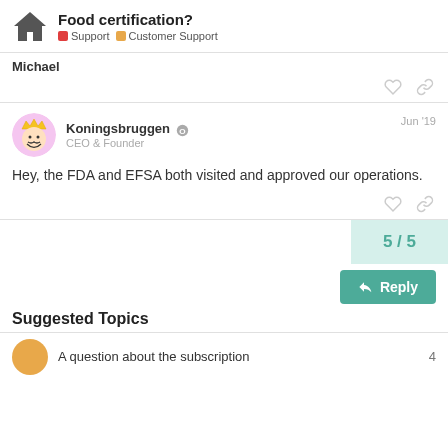Food certification? | Support | Customer Support
Michael
Koningsbruggen  CEO & Founder  Jun '19
Hey, the FDA and EFSA both visited and approved our operations.
5 / 5
Reply
Suggested Topics
A question about the subscription